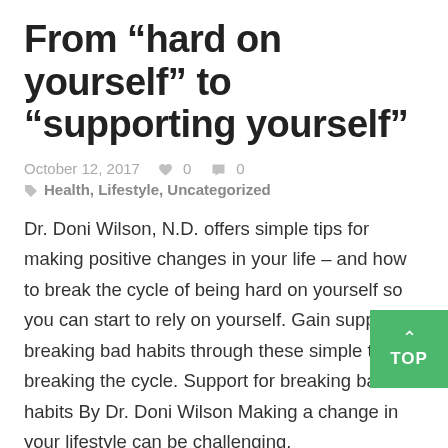From “hard on yourself” to “supporting yourself”
October 12, 2017  ♥ 0  • 0
◆ Health, Lifestyle, Uncategorized
Dr. Doni Wilson, N.D. offers simple tips for making positive changes in your life – and how to break the cycle of being hard on yourself so you can start to rely on yourself. Gain support for breaking bad habits through these simple tips for breaking the cycle. Support for breaking bad habits By Dr. Doni Wilson Making a change in your lifestyle can be challenging.